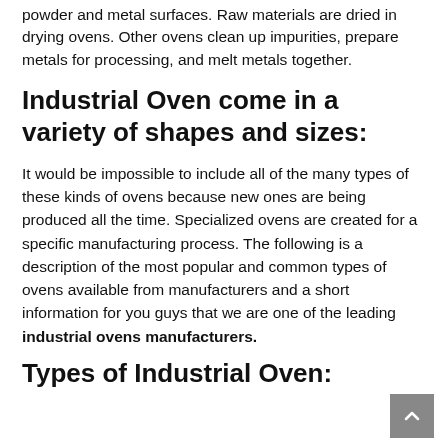powder and metal surfaces. Raw materials are dried in drying ovens. Other ovens clean up impurities, prepare metals for processing, and melt metals together.
Industrial Oven come in a variety of shapes and sizes:
It would be impossible to include all of the many types of these kinds of ovens because new ones are being produced all the time. Specialized ovens are created for a specific manufacturing process. The following is a description of the most popular and common types of ovens available from manufacturers and a short information for you guys that we are one of the leading industrial ovens manufacturers.
Types of Industrial Oven: